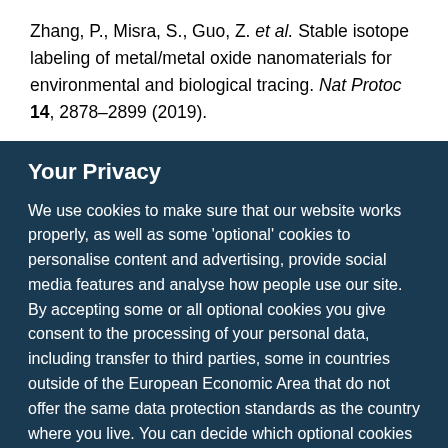Zhang, P., Misra, S., Guo, Z. et al. Stable isotope labeling of metal/metal oxide nanomaterials for environmental and biological tracing. Nat Protoc 14, 2878–2899 (2019).
Your Privacy
We use cookies to make sure that our website works properly, as well as some 'optional' cookies to personalise content and advertising, provide social media features and analyse how people use our site. By accepting some or all optional cookies you give consent to the processing of your personal data, including transfer to third parties, some in countries outside of the European Economic Area that do not offer the same data protection standards as the country where you live. You can decide which optional cookies to accept by clicking on 'Manage Settings', where you can
Get the most important science stories of the day, free in your inbox.
Sign up for Nature Briefing